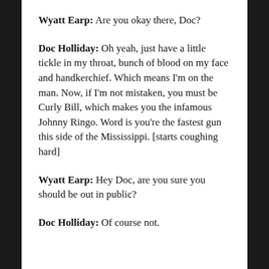Wyatt Earp: Are you okay there, Doc?
Doc Holliday: Oh yeah, just have a little tickle in my throat, bunch of blood on my face and handkerchief. Which means I'm on the man. Now, if I'm not mistaken, you must be Curly Bill, which makes you the infamous Johnny Ringo. Word is you're the fastest gun this side of the Mississippi. [starts coughing hard]
Wyatt Earp: Hey Doc, are you sure you should be out in public?
Doc Holliday: Of course not.